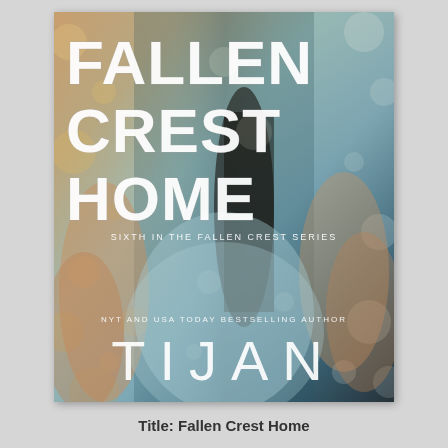[Figure (illustration): Book cover for 'Fallen Crest Home' by Tijan. Shows a woman in a light blue dress from behind with long dark hair, set against a bokeh light background. Large distressed white text reads FALLEN CREST HOME with subtitle 'Sixth in the Fallen Crest Series'. Author name TIJAN appears at the bottom with label 'NYT and USA Today Bestselling Author'.]
Title: Fallen Crest Home